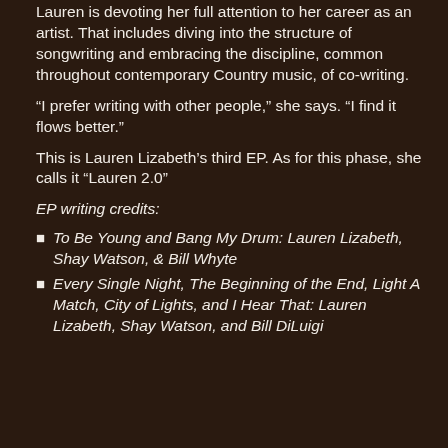Lauren is devoting her full attention to her career as an artist. That includes diving into the structure of songwriting and embracing the discipline, common throughout contemporary Country music, of co-writing.
“I prefer writing with other people,” she says. “I find it flows better.”
This is Lauren Lizabeth’s third EP. As for this phase, she calls it “Lauren 2.0”
EP writing credits:
To Be Young and Bang My Drum: Lauren Lizabeth, Shay Watson, & Bill Whyte
Every Single Night, The Beginning of the End, Light A Match, City of Lights, and I Hear That: Lauren Lizabeth, Shay Watson, and Bill DiLuigi